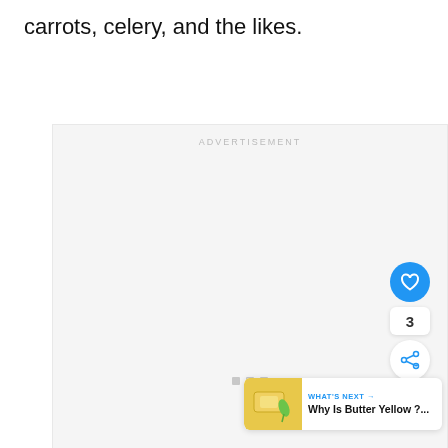carrots, celery, and the likes.
[Figure (other): Advertisement placeholder box with 'ADVERTISEMENT' label and three grey dots centered near the bottom]
[Figure (other): Blue circular heart/like button with count 3 below it, and a share button below that]
[Figure (other): What's next card: thumbnail of butter, text 'WHAT'S NEXT →' and 'Why Is Butter Yellow ?...']